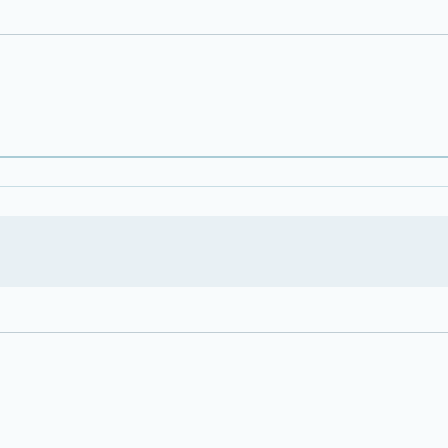[Figure (screenshot): Forum thread screenshot showing partial top post with avatar, and two complete posts by users 'andare' and 'j_flanders']
Last edited: Mar 11, 2021 17:
Joined: Jun 28, 2017
Posts: 161
andare
Posted on Mar 11 2021
[Figure (photo): Close-up photo of a rooster's head]
Joined: Jul 11, 2018
Posts: 61
j_flanders wrote:
What type of pan do
The code is printed o
Does it say 4AB3C1
Yes, it's the classic Accu
j_flanders
Posted on Mar 11 2021
[Figure (photo): Photo of a package of toothpicks]
Joined: Jun 28, 2017
Posts: 161
andare wrote:
So this morning the a
components are goo
reverb, no cut outs.
From the above it shoul
Check the RCA jacks ag